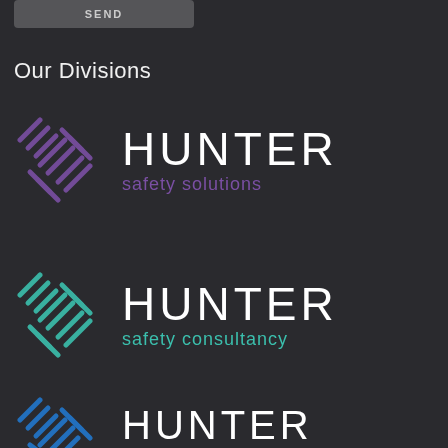[Figure (screenshot): SEND button UI element at top of page]
Our Divisions
[Figure (logo): Hunter Safety Solutions logo with purple geometric icon and white HUNTER text with purple 'safety solutions' subtitle]
[Figure (logo): Hunter Safety Consultancy logo with teal geometric icon and white HUNTER text with teal 'safety consultancy' subtitle]
[Figure (logo): Hunter (third division) logo with blue geometric icon and white HUNTER text, partially visible]